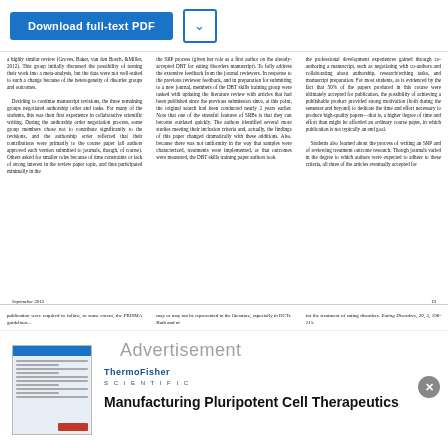[Figure (screenshot): Download full-text PDF button with blue background and chevron dropdown button]
a highly similar review (Groves, Baker, van den Bosch, & Miller, 2012). This group initially discussed the possibility of turning their work into a meta-analysis, but the data were not well-suited to such a change because of the heterogeneity of disorder groups and outcomes. Deciding to continue manuscript revisions, the three remaining groups negotiated authorship order and tasks. For many of the students, this was their first experience in collaborative scientific writing. During the authorship order negotiation process, some group members chose not to contribute significantly to the revisions, and the authorship order reflected that their contributions were primarily to the course paper (all authors approved each version submitted to journals, though, of course). Others asked for smaller roles because of time constraints or lack of strong interest in the review paper topic, and thus participated minimally in the
the SRP process (given her role as a first author on the already-accepted DBT for eating disorders manuscript). To fully address the extensive feedback from the journal reviewers. In response to the previous reviewer feedback, and in preparation for submitting to a new journal, members of the DBT skills training group were tasked with updating the literature review with articles that had been published since the previous submission since, at this point, the original search had been conducted nearly 2 years earlier. Note that one of the stressful features of SRBs is that they can become outdated quickly. The authors identified several more studies meeting their inclusion criteria and, actually, the findings of this paper changed dramatically with these additions. Also, because there was not uniformity in the way that samples were characterized, treatments were implemented, or that outcomes were measured, the DBT skills training paper authors took
the professional development experiences gained through co-authoring a manuscript, such as negotiating with co-authors and collaborating about authorship, research/writing tasks, and manuscript preparation. For most students, as is evidenced by the fact that 50% of the papers produced in this course were ultimately accepted for publication, the possibility of achieving a publishable product provided strong motivation (both during the semester and beyond) to dedicate the time and effort necessary to produce high-quality papers—that is, a higher degree of time and effort than might be afforded an ordinary course paper, in which publication is not typically an end goal. Students also learned about the process of writing an SRP and of reviewing treatment outcome research. Though journals varied in the degree to which authors were expected to adhere to these criteria, all three of the articles eventually accepted for
September 2015
19
publication were required to follow, to some extent, the PRISMA guidelines
may or may not be represented in the literature, especially in RCTs. Both...
for the treatment of eating disorders. Eating Disorders, 20, 3, 196-215.
[Figure (infographic): Advertisement: Thermo Fisher Scientific - Manufacturing Pluripotent Cell Therapeutics, with thumbnail of brochure on left and logo and title text on right]